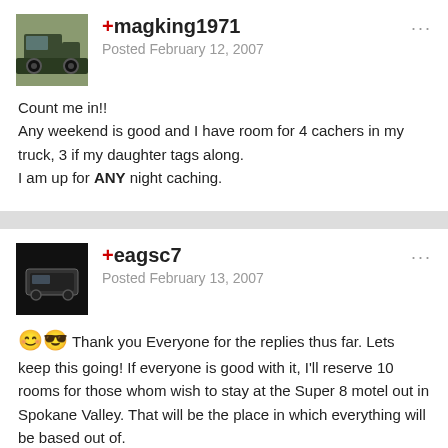+magking1971
Posted February 12, 2007
Count me in!!
Any weekend is good and I have room for 4 cachers in my truck, 3 if my daughter tags along.
I am up for ANY night caching.
+eagsc7
Posted February 13, 2007
Thank you Everyone for the replies thus far. Lets keep this going! If everyone is good with it, I'll reserve 10 rooms for those whom wish to stay at the Super 8 motel out in Spokane Valley. That will be the place in which everything will be based out of.

The cost for staying at the hotel is as follows: Checking in on the 27th after 3pm and checking out before 11am on the 30th will cost you 222.70 for 3 rooms, close to 334.44 if you only need 1-2 people in bed. They might